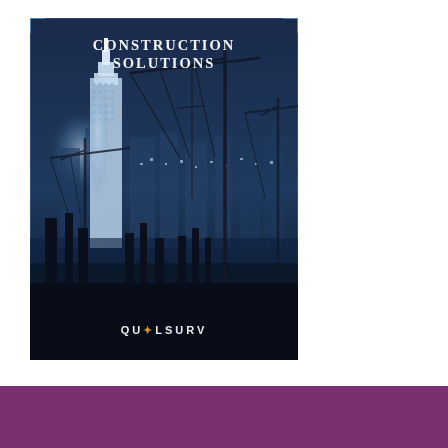[Figure (illustration): Cover page of a QUALSURV Construction Solutions brochure. Dark blue background with a city skyline and construction cranes silhouetted against a glowing cityscape at night. Text at top reads 'CONSTRUCTION SOLUTIONS' in white serif letters. Logo 'QUALSURV' appears at the bottom center of the image in white lettering with a star/asterisk symbol.]